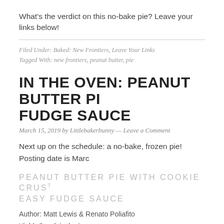What's the verdict on this no-bake pie? Leave your links below!
Filed Under: Baked: New Frontiers, Leave Your Links
Tagged With: new frontiers, peanut butter, pie
IN THE OVEN: PEANUT BUTTER PI FUDGE SAUCE
March 15, 2019 by Littlebakerbunny — Leave a Comment
Next up on the schedule: a no-bake, frozen pie! Posting date is Marc
PEANUT BUTTER PIE WITH COOKIE CRUS T EASY FUDGE SAUCE
Author: Matt Lewis & Renato Poliafito
Yield: One 9-inch pie